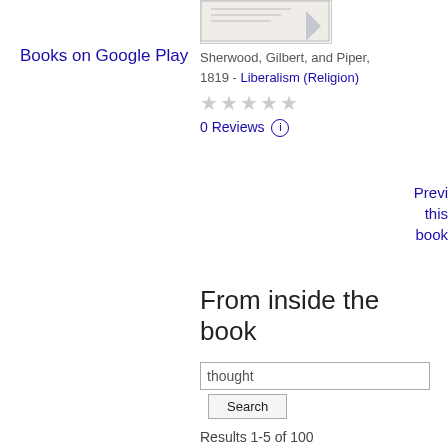Books on Google Play
[Figure (illustration): Partial book cover image shown at top right]
Sherwood, Gilbert, and Piper, 1819 - Liberalism (Religion)
★★★★★ (empty stars, 0 rating)
0 Reviews ⓘ
Preview this book
From inside the book
thought
Search
Results 1-5 of 100
Page 33
It is full of obscurity , and writers of much thought and learning , who certè consuetudo corroboravit